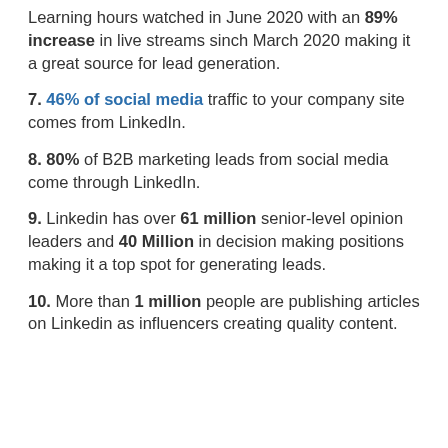Learning hours watched in June 2020 with an 89% increase in live streams sinch March 2020 making it a great source for lead generation.
7. 46% of social media traffic to your company site comes from LinkedIn.
8. 80% of B2B marketing leads from social media come through LinkedIn.
9. Linkedin has over 61 million senior-level opinion leaders and 40 Million in decision making positions making it a top spot for generating leads.
10. More than 1 million people are publishing articles on Linkedin as influencers creating quality content.